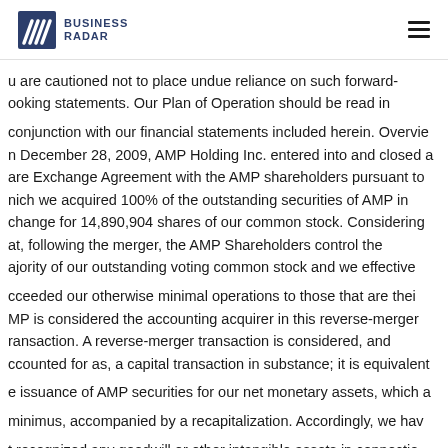BUSINESS RADAR
u are cautioned not to place undue reliance on such forward-looking statements. Our Plan of Operation should be read in conjunction with our financial statements included herein. Overview On December 28, 2009, AMP Holding Inc. entered into and closed a Share Exchange Agreement with the AMP shareholders pursuant to which we acquired 100% of the outstanding securities of AMP in exchange for 14,890,904 shares of our common stock. Considering that, following the merger, the AMP Shareholders control the majority of our outstanding voting common stock and we effectively succeeded our otherwise minimal operations to those that are theirs. AMP is considered the accounting acquirer in this reverse-merger transaction. A reverse-merger transaction is considered, and accounted for as, a capital transaction in substance; it is equivalent to the issuance of AMP securities for our net monetary assets, which are de minimus, accompanied by a recapitalization. Accordingly, we have not recognized any goodwill or other intangible assets in connection with this reverse merger transaction. AMP is the surviving and